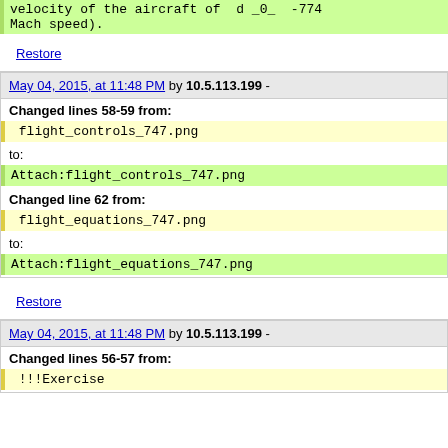velocity of the aircraft of  d_0_  -774  Mach speed).
Restore
May 04, 2015, at 11:48 PM by 10.5.113.199 -
Changed lines 58-59 from:
flight_controls_747.png
to:
Attach:flight_controls_747.png
Changed line 62 from:
flight_equations_747.png
to:
Attach:flight_equations_747.png
Restore
May 04, 2015, at 11:48 PM by 10.5.113.199 -
Changed lines 56-57 from:
!!!Exercise